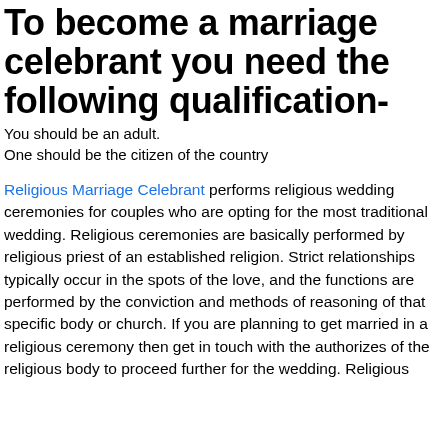To become a marriage celebrant you need the following qualification-
You should be an adult.
One should be the citizen of the country
Religious Marriage Celebrant performs religious wedding ceremonies for couples who are opting for the most traditional wedding. Religious ceremonies are basically performed by religious priest of an established religion. Strict relationships typically occur in the spots of the love, and the functions are performed by the conviction and methods of reasoning of that specific body or church. If you are planning to get married in a religious ceremony then get in touch with the authorizes of the religious body to proceed further for the wedding. Religious